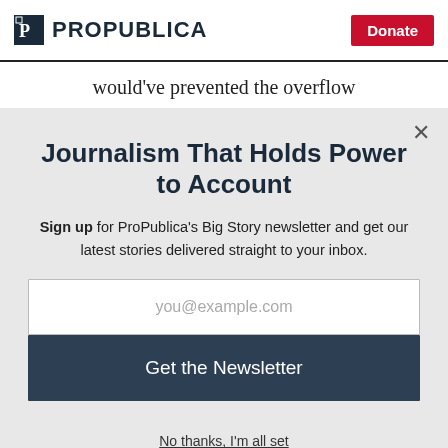ProPublica | Donate
would've prevented the overflow
Journalism That Holds Power to Account
Sign up for ProPublica's Big Story newsletter and get our latest stories delivered straight to your inbox.
you@example.com
Get the Newsletter
No thanks, I'm all set
This site is protected by reCAPTCHA and the Google Privacy Policy and Terms of Service apply.